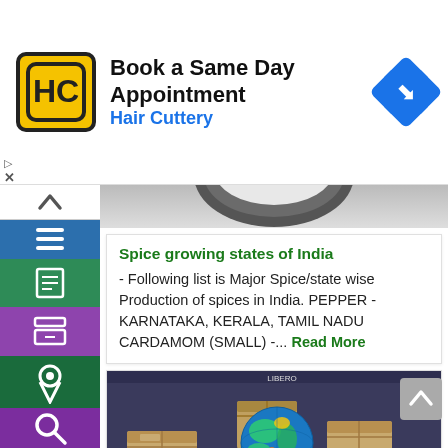[Figure (screenshot): Hair Cuttery advertisement banner with logo, 'Book a Same Day Appointment', and navigation arrow icon]
[Figure (screenshot): Website sidebar with navigation icons: up arrow, hamburger menu (blue), article (green), archive (purple), location pin (dark green), search (purple)]
[Figure (photo): Partial top image of a dark bowl with spices]
Spice growing states of India
- Following list is Major Spice/state wise Production of spices in India. PEPPER - KARNATAKA, KERALA, TAMIL NADU CARDAMOM (SMALL) -... Read More
[Figure (photo): Cardboard shipping boxes and a globe sitting on a laptop keyboard, representing global e-commerce/shipping]